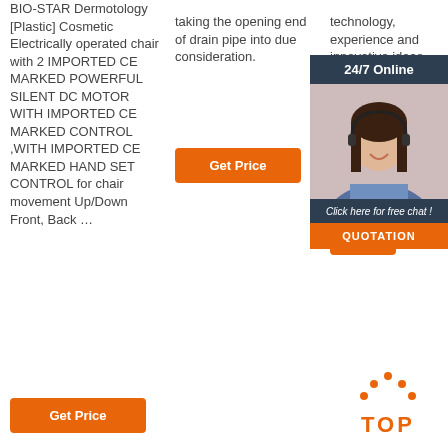BIO-STAR Dermotology [Plastic] Cosmetic Electrically operated chair with 2 IMPORTED CE MARKED POWERFUL SILENT DC MOTOR WITH IMPORTED CE MARKED CONTROL ,WITH IMPORTED CE MARKED HAND SET CONTROL for chair movement Up/Down Front, Back …
taking the opening end of drain pipe into due consideration.
technology, experience and innovative ideas, we successfully develop unique fabrica… optima… discret
[Figure (other): Chat widget with woman wearing headset, showing '24/7 Online' header, 'Click here for free chat!' and QUOTATION button]
[Figure (other): TOP navigation button with orange dots arranged in arc above orange text reading TOP]
Get Price (button, column 2)
Get (button, column 3, partial)
Get Price (button, bottom left)